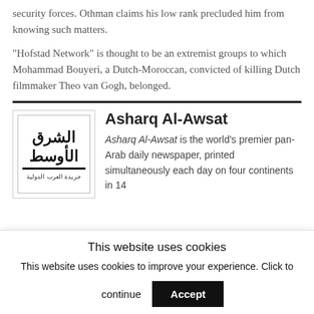security forces. Othman claims his low rank precluded him from knowing such matters.
“Hofstad Network” is thought to be an extremist groups to which Mohammad Bouyeri, a Dutch-Moroccan, convicted of killing Dutch filmmaker Theo van Gogh, belonged.
[Figure (logo): Asharq Al-Awsat newspaper logo with Arabic text]
Asharq Al-Awsat
Asharq Al-Awsat is the world’s premier pan-Arab daily newspaper, printed simultaneously each day on four continents in 14
This website uses cookies
This website uses cookies to improve your experience. Click to continue
Accept